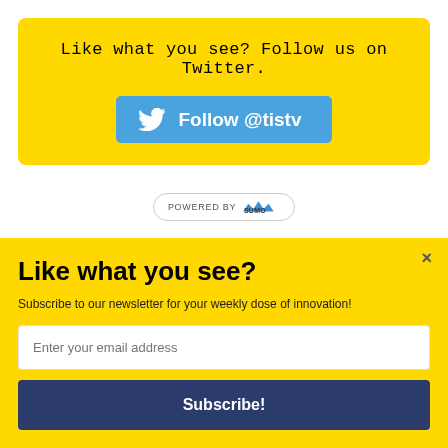Like what you see? Follow us on Twitter.
[Figure (other): Blue Twitter Follow button with bird icon and text 'Follow @tistv']
[Figure (other): Powered by SUMO badge with crown logo]
Like what you see?
Subscribe to our newsletter for your weekly dose of innovation!
Enter your email address
Subscribe!